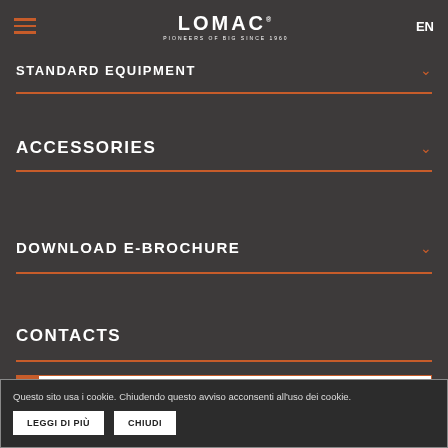LOMAC PIONEERS OF BIG SINCE 1960 EN
STANDARD EQUIPMENT
ACCESSORIES
DOWNLOAD E-BROCHURE
CONTACTS
Questo sito usa i cookie. Chiudendo questo avviso acconsenti all'uso dei cookie.
LEGGI DI PIÙ
CHIUDI